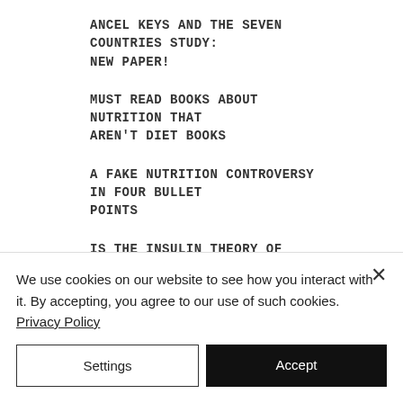ANCEL KEYS AND THE SEVEN COUNTRIES STUDY: NEW PAPER!
MUST READ BOOKS ABOUT NUTRITION THAT AREN'T DIET BOOKS
A FAKE NUTRITION CONTROVERSY IN FOUR BULLET POINTS
IS THE INSULIN THEORY OF OBESITY OVER?
ANCEL KEYS AND THE SEVEN COUNTRIES STUDY: A RESPONSE TO "THE SUGAR CONSPIRACY"
We use cookies on our website to see how you interact with it. By accepting, you agree to our use of such cookies. Privacy Policy
Settings | Accept